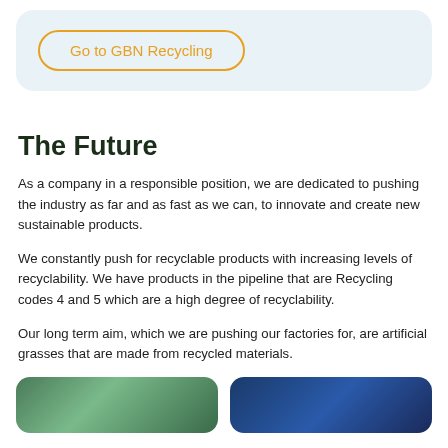[Figure (other): Button labeled 'Go to GBN Recycling' with orange border on a light blue card background]
The Future
As a company in a responsible position, we are dedicated to pushing the industry as far and as fast as we can, to innovate and create new sustainable products.
We constantly push for recyclable products with increasing levels of recyclability. We have products in the pipeline that are Recycling codes 4 and 5 which are a high degree of recyclability.
Our long term aim, which we are pushing our factories for, are artificial grasses that are made from recycled materials.
[Figure (photo): Two partial photos at the bottom: left shows green/natural material, right shows blue-tinted industrial or material image]